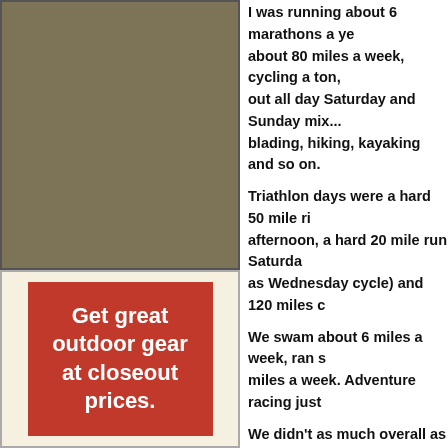[Figure (illustration): Tan/khaki colored rectangle serving as image placeholder in upper left column]
[Figure (infographic): Advertisement banner with red background and white bold text: Get great outdoor gear at closeout prices.]
I was running about 6 marathons a year, about 80 miles a week, cycling a ton, out all day Saturday and Sunday mix... blading, hiking, kayaking and so on.
Triathlon days were a hard 50 mile ri... afternoon, a hard 20 mile run Saturda... as Wednesday cycle) and 120 miles c...
We swam about 6 miles a week, ran s... miles a week. Adventure racing just...
We didn't as much overall as in triath... climbing skills, white water skills plu...
What would you recommend... are not where you should be...
In our world, each team member is re... their level of fitness and advising the...
In the early stages of forming our tea... one team mate, Duane, came to me a... that is keeping me from training. You... to take my place.